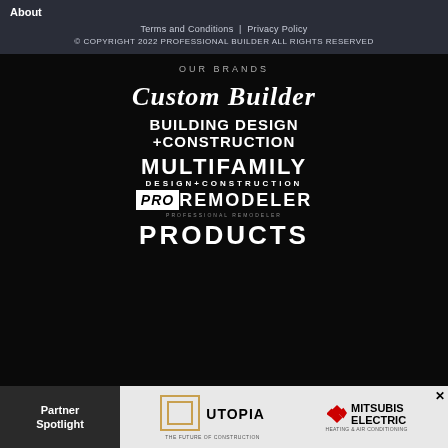About
Terms and Conditions | Privacy Policy
© COPYRIGHT 2022 PROFESSIONAL BUILDER ALL RIGHTS RESERVED
OUR BRANDS
[Figure (logo): Custom Builder logo in serif font]
[Figure (logo): BUILDING DESIGN +CONSTRUCTION logo]
[Figure (logo): MULTIFAMILY DESIGN+CONSTRUCTION logo]
[Figure (logo): PRO REMODELER logo]
[Figure (logo): PRODUCTS logo]
Partner Spotlight
[Figure (logo): Utopia and Mitsubishi Electric partner spotlight banner]